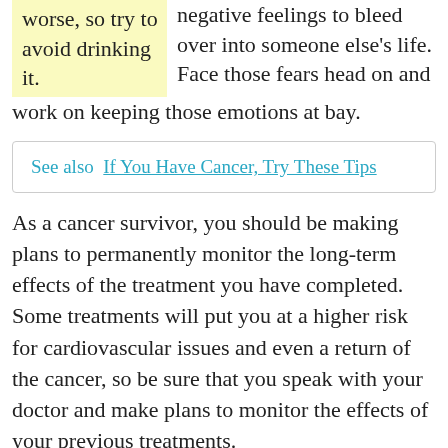worse, so try to avoid drinking it.
negative feelings to bleed over into someone else's life. Face those fears head on and work on keeping those emotions at bay.
See also  If You Have Cancer, Try These Tips
As a cancer survivor, you should be making plans to permanently monitor the long-term effects of the treatment you have completed. Some treatments will put you at a higher risk for cardiovascular issues and even a return of the cancer, so be sure that you speak with your doctor and make plans to monitor the effects of your previous treatments.